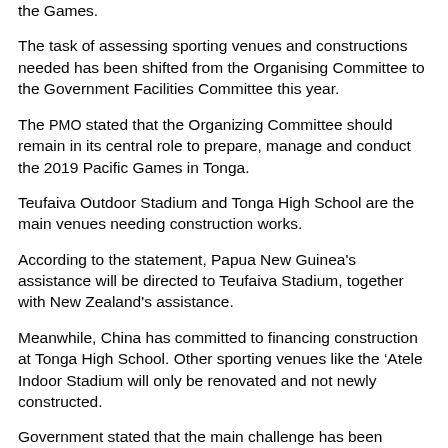the Games.
The task of assessing sporting venues and constructions needed has been shifted from the Organising Committee to the Government Facilities Committee this year.
The PMO stated that the Organizing Committee should remain in its central role to prepare, manage and conduct the 2019 Pacific Games in Tonga.
Teufaiva Outdoor Stadium and Tonga High School are the main venues needing construction works.
According to the statement, Papua New Guinea's assistance will be directed to Teufaiva Stadium, together with New Zealand's assistance.
Meanwhile, China has committed to financing construction at Tonga High School. Other sporting venues like the ‘Atele Indoor Stadium will only be renovated and not newly constructed.
Government stated that the main challenge has been finance but development partners had stepped in to assist, while negotiations were underway with others.